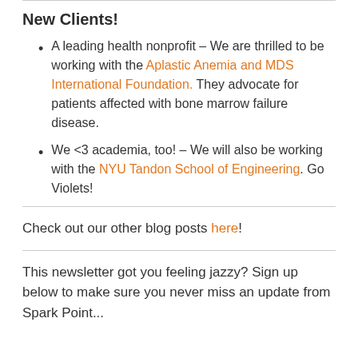New Clients!
A leading health nonprofit – We are thrilled to be working with the Aplastic Anemia and MDS International Foundation. They advocate for patients affected with bone marrow failure disease.
We <3 academia, too! – We will also be working with the NYU Tandon School of Engineering. Go Violets!
Check out our other blog posts here!
This newsletter got you feeling jazzy? Sign up below to make sure you never miss an update from Spark Point...